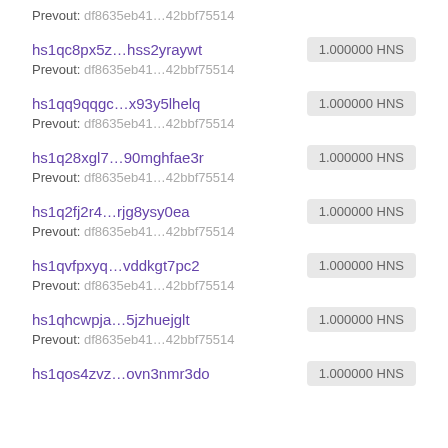Prevout: df8635eb41...42bbf75514
hs1qc8px5z...hss2yraywt  1.000000 HNS
Prevout: df8635eb41...42bbf75514
hs1qq9qqgc...x93y5lhelq  1.000000 HNS
Prevout: df8635eb41...42bbf75514
hs1q28xgl7...90mghfae3r  1.000000 HNS
Prevout: df8635eb41...42bbf75514
hs1q2fj2r4...rjg8ysy0ea  1.000000 HNS
Prevout: df8635eb41...42bbf75514
hs1qvfpxyq...vddkgt7pc2  1.000000 HNS
Prevout: df8635eb41...42bbf75514
hs1qhcwpja...5jzhuejglt  1.000000 HNS
Prevout: df8635eb41...42bbf75514
hs1qos4zvz...ovn3nmr3do  1.000000 HNS